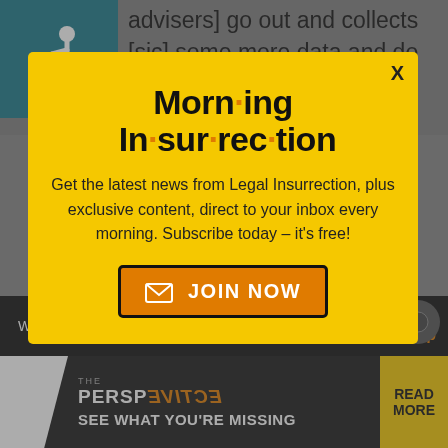[Figure (screenshot): Accessibility wheelchair icon in teal/dark cyan square]
advisers] go out and collects [sic] some more data and do some more analysis, the problem is worse than we [I] thought, and we [I] have less time than
[Figure (infographic): Morning Insurrection newsletter signup modal popup with yellow background. Title: Morn·ing In·sur·rec·tion. Subtitle: Get the latest news from Legal Insurrection, plus exclusive content, direct to your inbox every morning. Subscribe today – it's free! Button: JOIN NOW with envelope icon. Close X button in upper right.]
Welcome to Panderfest 2020! Talk is
[Figure (screenshot): The Perspective advertisement bar: white triangle shape, PERSPECTIVE brand name, SEE WHAT YOU'RE MISSING tagline, READ MORE button in yellow]
your life better and faster than you.